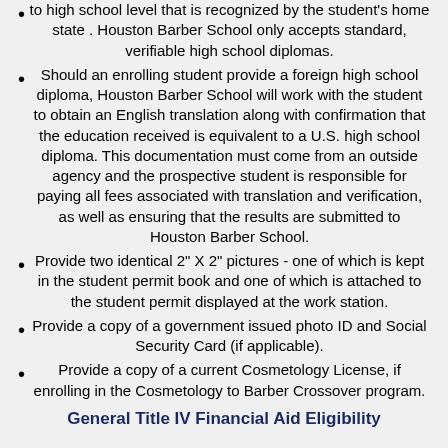to high school level that is recognized by the student's home state . Houston Barber School only accepts standard, verifiable high school diplomas.
Should an enrolling student provide a foreign high school diploma, Houston Barber School will work with the student to obtain an English translation along with confirmation that the education received is equivalent to a U.S. high school diploma. This documentation must come from an outside agency and the prospective student is responsible for paying all fees associated with translation and verification, as well as ensuring that the results are submitted to Houston Barber School.
Provide two identical 2" X 2" pictures - one of which is kept in the student permit book and one of which is attached to the student permit displayed at the work station.
Provide a copy of a government issued photo ID and Social Security Card (if applicable).
Provide a copy of a current Cosmetology License, if enrolling in the Cosmetology to Barber Crossover program.
General Title IV Financial Aid Eligibility